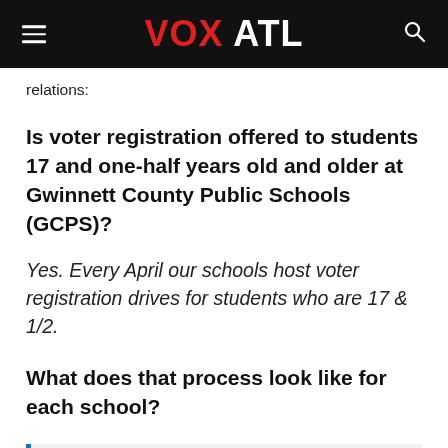VOX ATL
relations:
Is voter registration offered to students 17 and one-half years old and older at Gwinnett County Public Schools (GCPS)?
Yes. Every April our schools host voter registration drives for students who are 17 & 1/2.
What does that process look like for each school?
READ "What Was the Reason" EP. 3: Putin's Russia vs U.S. and Everybody